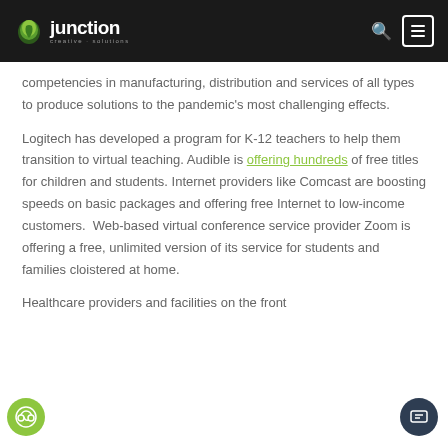Junction Creative Solutions — Navigation header with logo, search icon, and menu button
competencies in manufacturing, distribution and services of all types to produce solutions to the pandemic's most challenging effects.
Logitech has developed a program for K-12 teachers to help them transition to virtual teaching. Audible is offering hundreds of free titles for children and students. Internet providers like Comcast are boosting speeds on basic packages and offering free Internet to low-income customers. Web-based virtual conference service provider Zoom is offering a free, unlimited version of its service for students and families cloistered at home.
Healthcare providers and facilities on the front